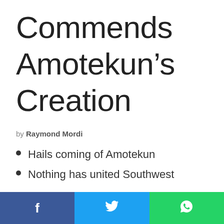Commends Amotekun's Creation
by Raymond Mordi
Hails coming of Amotekun
Nothing has united Southwest